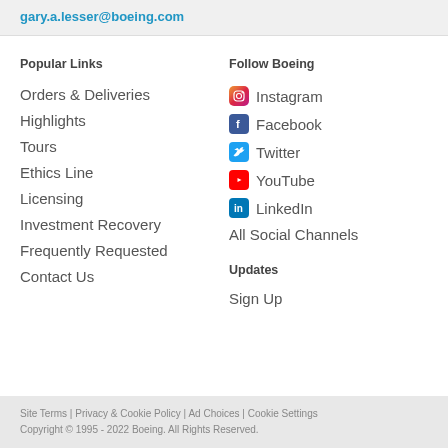gary.a.lesser@boeing.com
Popular Links
Orders & Deliveries
Highlights
Tours
Ethics Line
Licensing
Investment Recovery
Frequently Requested
Contact Us
Follow Boeing
Instagram
Facebook
Twitter
YouTube
LinkedIn
All Social Channels
Updates
Sign Up
Site Terms | Privacy & Cookie Policy | Ad Choices | Cookie Settings
Copyright © 1995 - 2022 Boeing. All Rights Reserved.